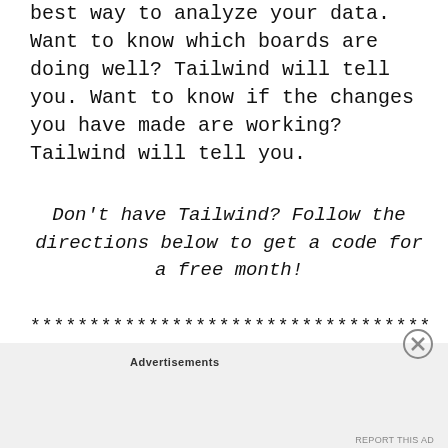best way to analyze your data. Want to know which boards are doing well? Tailwind will tell you. Want to know if the changes you have made are working? Tailwind will tell you.
Don’t have Tailwind? Follow the directions below to get a code for a free month!
**********************************
Follow me:
Advertisements